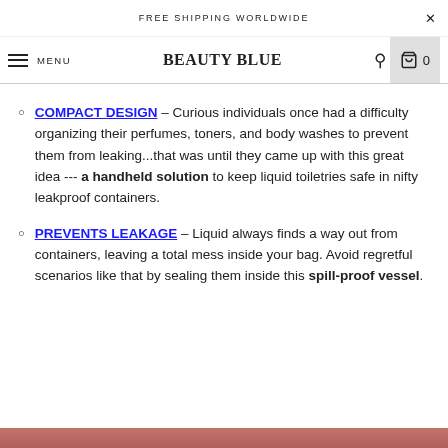FREE SHIPPING WORLDWIDE
BEAUTY BLUE
COMPACT DESIGN – Curious individuals once had a difficulty organizing their perfumes, toners, and body washes to prevent them from leaking...that was until they came up with this great idea --- a handheld solution to keep liquid toiletries safe in nifty leakproof containers.
PREVENTS LEAKAGE – Liquid always finds a way out from containers, leaving a total mess inside your bag. Avoid regretful scenarios like that by sealing them inside this spill-proof vessel.
[Figure (photo): Bottom edge of a product photo partially visible]